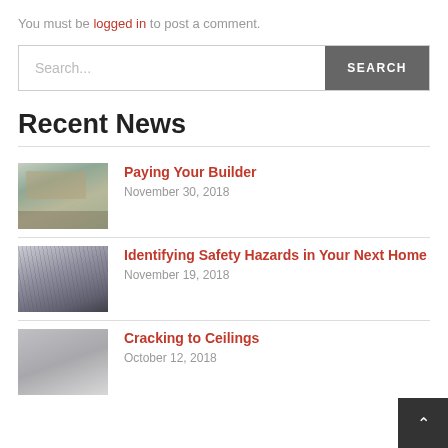You must be logged in to post a comment.
[Figure (screenshot): Search bar with text field showing 'Search...' placeholder and dark grey SEARCH button]
Recent News
Paying Your Builder - November 30, 2018
Identifying Safety Hazards in Your Next Home - November 19, 2018
Cracking to Ceilings - October 12, 2018